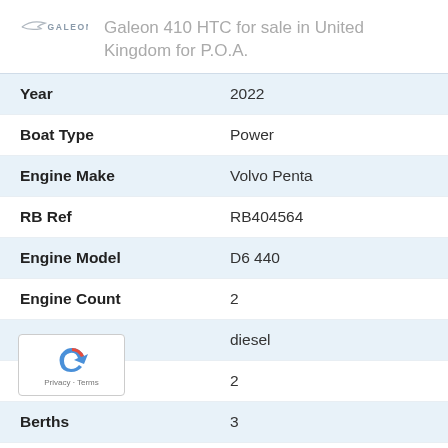Galeon 410 HTC for sale in United Kingdom for P.O.A.
| Field | Value |
| --- | --- |
| Year | 2022 |
| Boat Type | Power |
| Engine Make | Volvo Penta |
| RB Ref | RB404564 |
| Engine Model | D6 440 |
| Engine Count | 2 |
| Fuel | diesel |
| Cabins | 2 |
| Berths | 3 |
| Location | Southampton |
| Country | United Kingdom |